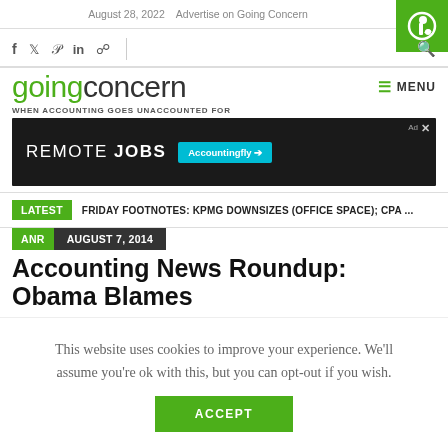August 28, 2022   Advertise on Going Concern
[Figure (logo): Green square with white Going Concern 'g' logo icon]
[Figure (infographic): Social media icons: facebook, twitter, pinterest, linkedin, rss feed; search icon on right]
goingconcern
WHEN ACCOUNTING GOES UNACCOUNTED FOR
[Figure (screenshot): Advertisement banner: REMOTE JOBS with Accountingfly logo on dark background]
LATEST  FRIDAY FOOTNOTES: KPMG DOWNSIZES (OFFICE SPACE); CPA ...
ANR  AUGUST 7, 2014
Accounting News Roundup: Obama Blames
This website uses cookies to improve your experience. We'll assume you're ok with this, but you can opt-out if you wish.
ACCEPT